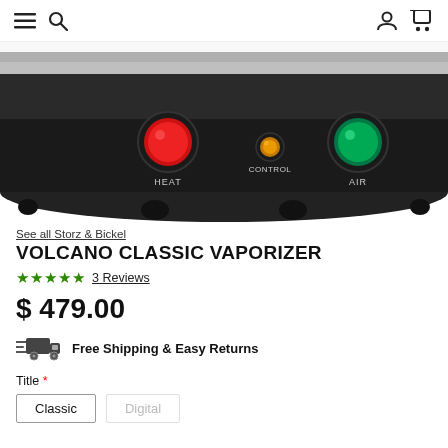Navigation bar with menu, search, account, and cart icons
[Figure (photo): Close-up photo of the base of a Volcano Classic Vaporizer showing three control buttons labeled HEAT (red), CONTROL (yellow/amber), and AIR (green) on a black rounded base with a silver/brushed metal top ring.]
See all Storz & Bickel
VOLCANO CLASSIC VAPORIZER
★★★★★ 3 Reviews
$ 479.00
Free Shipping & Easy Returns
Title *
Classic  Digital